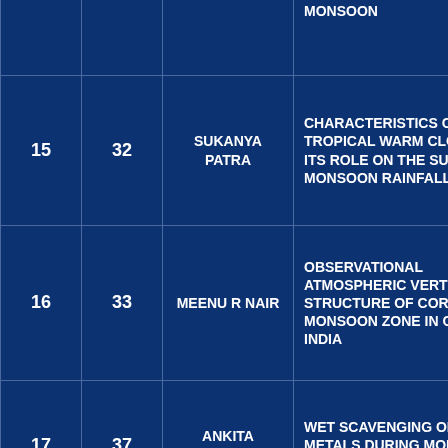|  |  |  | DURING ACTIVE AND WEAK PHASES OF INDIAN SUMMER MONSOON |
| 15 | 32 | SUKANYA PATRA | CHARACTERISTICS OF TROPICAL WARM CLOUDS AND ITS ROLE ON THE SUMMER MONSOON RAINFALL |
| 16 | 33 | MEENU R NAIR | OBSERVATIONAL ATMOSPHERIC VERTICAL STRUCTURE OF CORE MONSOON ZONE IN CENTRAL INDIA |
| 17 | 37 | ANKITA KATOCH | WET SCAVENGING OF HEAVY METALS DURING MONSOON SEASON IN DELHI |